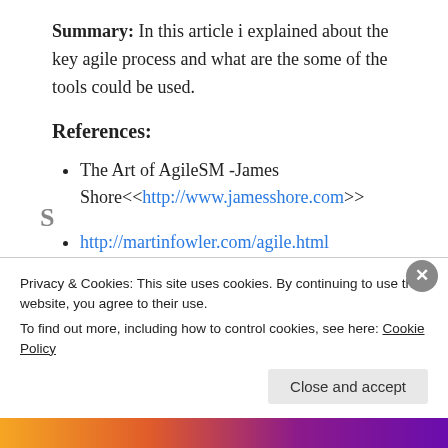Summary: In this article i explained about the key agile process and what are the some of the tools could be used.
References:
The Art of AgileSM -James Shore<<http://www.jamesshore.com>>
http://martinfowler.com/agile.html
Privacy & Cookies: This site uses cookies. By continuing to use this website, you agree to their use.
To find out more, including how to control cookies, see here: Cookie Policy